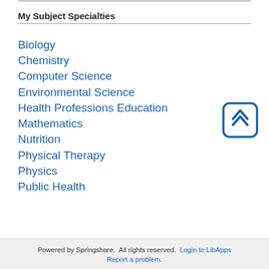My Subject Specialties
Biology
Chemistry
Computer Science
Environmental Science
Health Professions Education
Mathematics
Nutrition
Physical Therapy
Physics
Public Health
[Figure (illustration): Back to top button — rounded square with double chevron/arrow pointing up, in dark blue outline style]
Powered by Springshare.  All rights reserved.  Login to LibApps  Report a problem.